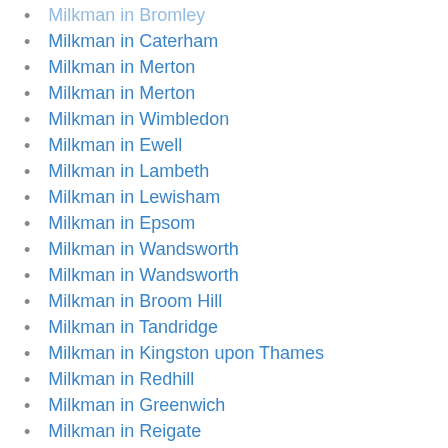Milkman in Bromley
Milkman in Caterham
Milkman in Merton
Milkman in Merton
Milkman in Wimbledon
Milkman in Ewell
Milkman in Lambeth
Milkman in Lewisham
Milkman in Epsom
Milkman in Wandsworth
Milkman in Wandsworth
Milkman in Broom Hill
Milkman in Tandridge
Milkman in Kingston upon Thames
Milkman in Redhill
Milkman in Greenwich
Milkman in Reigate